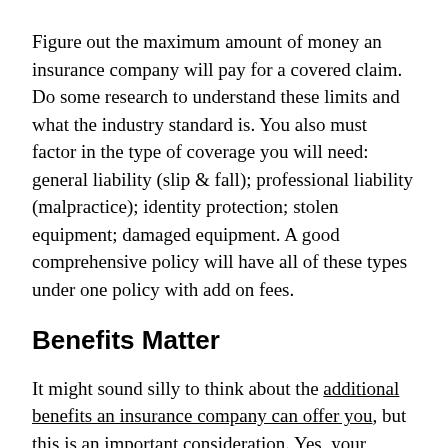Figure out the maximum amount of money an insurance company will pay for a covered claim. Do some research to understand these limits and what the industry standard is. You also must factor in the type of coverage you will need: general liability (slip & fall); professional liability (malpractice); identity protection; stolen equipment; damaged equipment. A good comprehensive policy will have all of these types under one policy with add on fees.
Benefits Matter
It might sound silly to think about the additional benefits an insurance company can offer you, but this is an important consideration. Yes, your primary concern should be comprehensive coverage at a price that works for you, but many companies will offer you premium